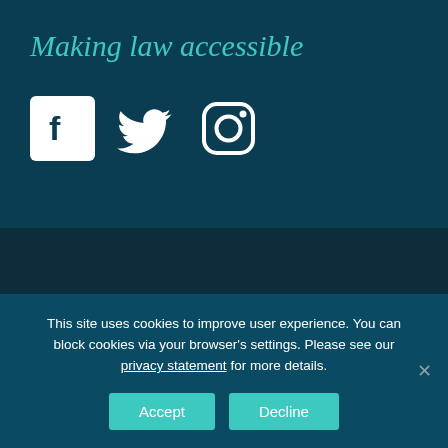Making law accessible
[Figure (illustration): Social media icons: Facebook (white F on white square background), Twitter (white bird), Instagram (white camera outline)]
Disclaimer
This site uses cookies to improve user experience. You can block cookies via your browser's settings. Please see our privacy statement for more details.
Accept | Decline